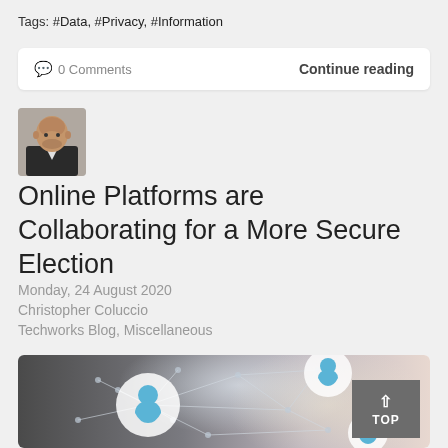Tags:  #Data, #Privacy, #Information
0 Comments    Continue reading
[Figure (photo): Profile photo of Christopher Coluccio, a bald man in a dark suit jacket]
Online Platforms are Collaborating for a More Secure Election
Monday, 24 August 2020
Christopher Coluccio
Techworks Blog, Miscellaneous
[Figure (photo): Network connectivity illustration with blue user icons connected by white lines on a grey and light background]